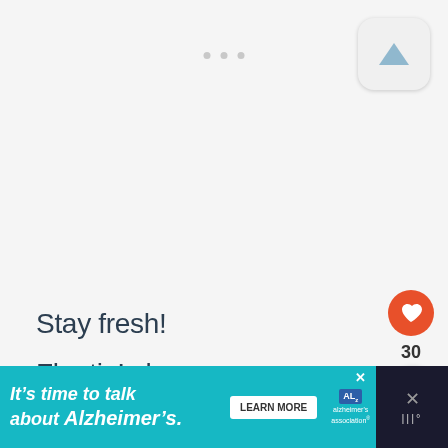[Figure (screenshot): App icon with upward-pointing triangle/arrow in light blue-gray color on a light gray rounded rectangle background]
[Figure (other): Three small gray dots in a horizontal row near the top center of the page]
Stay fresh!
Floatin’ along
[Figure (other): Orange circular heart/like button icon]
30
[Figure (other): White circular share button with orange share icon]
[Figure (infographic): Teal advertisement banner: 'It’s time to talk about Alzheimer’s.' with Learn More button and Alzheimer's Association logo. Right side has dark background with X and bars icons.]